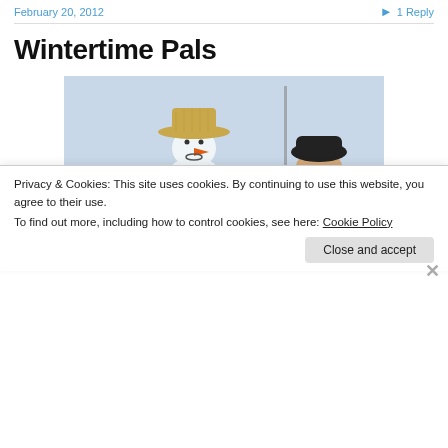February 20, 2012   1 Reply
Wintertime Pals
[Figure (photo): A child wearing a black winter hat stands next to a snowman wearing a straw cowboy hat, in a snowy outdoor scene. The snowman has a carrot nose and stick arms. Watermark reads © BeefMatters.com]
Privacy & Cookies: This site uses cookies. By continuing to use this website, you agree to their use.
To find out more, including how to control cookies, see here: Cookie Policy
Close and accept